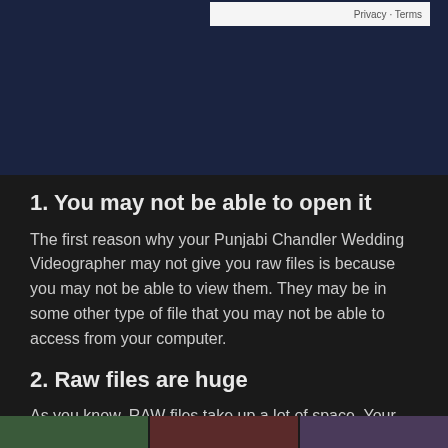[Figure (screenshot): Dark navy blue banner at the top of the page with a small white privacy/terms bar in the upper portion]
1. You may not be able to open it
The first reason why your Punjabi Chandler Wedding Videographer may not give you raw files is because you may not be able to view them. They may be in some other type of file that you may not be able to access from your computer.
2. Raw files are huge
As you know, RAW files take up a lot of space. Your Punjabi Scottsdale Wedding Photographer doesn't want to burden you with gigabytes of unedited photos. And frankly, we here at Saiaf Films wouldn't burden ourselves with uploading/copying them either.
[Figure (photo): Three thumbnail images partially visible at the bottom of the page]